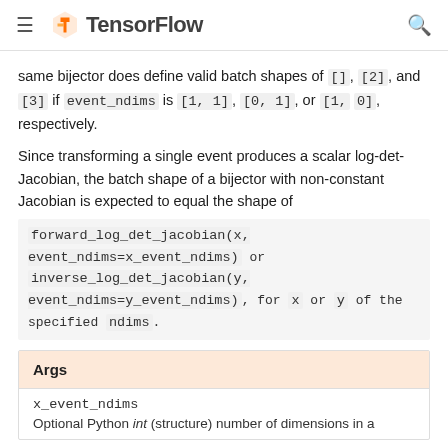TensorFlow
same bijector does define valid batch shapes of [], [2], and [3] if event_ndims is [1, 1], [0, 1], or [1, 0], respectively.
Since transforming a single event produces a scalar log-det-Jacobian, the batch shape of a bijector with non-constant Jacobian is expected to equal the shape of forward_log_det_jacobian(x, event_ndims=x_event_ndims) or inverse_log_det_jacobian(y, event_ndims=y_event_ndims), for x or y of the specified ndims.
| Args |
| --- |
| x_event_ndims |
| Optional Python int (structure) number of dimensions in a |